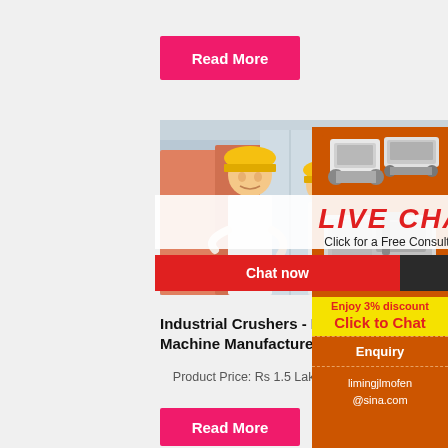Read More
[Figure (photo): Three workers wearing yellow hard hats, smiling, industrial setting]
[Figure (screenshot): Live Chat overlay with Chat now and Chat later buttons]
[Figure (photo): Industrial machinery/crusher equipment on orange background sidebar]
Enjoy 3% discount Click to Chat
Enquiry
limingjlmofen @sina.com
Industrial Crushers - Hammer Mill Machine Manufacturer ...
Product Price: Rs 1.5 Lakh / Unit Get Bes...
Read More